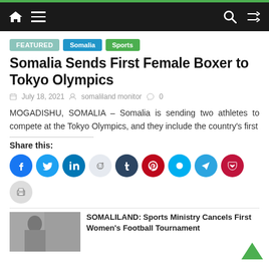Somaliland Monitor — navigation bar
FEATURED
Somalia
Sports
Somalia Sends First Female Boxer to Tokyo Olympics
July 18, 2021   somaliland monitor   0
MOGADISHU, SOMALIA – Somalia is sending two athletes to compete at the Tokyo Olympics, and they include the country's first
Share this:
[Figure (infographic): Social media share buttons: Facebook, Twitter, LinkedIn, Reddit, Tumblr, Pinterest, Skype, Telegram, Pocket, Print]
SOMALILAND: Sports Ministry Cancels First Women's Football Tournament